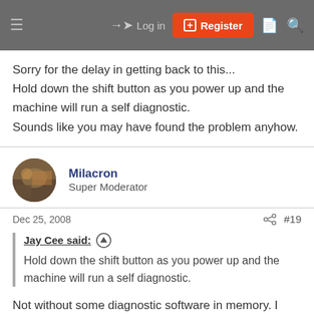Log in | Register
Sorry for the delay in getting back to this...
Hold down the shift button as you power up and the machine will run a self diagnostic.
Sounds like you may have found the problem anyhow.
Milacron
Super Moderator
Dec 25, 2008  #19
Jay Cee said:
Hold down the shift button as you power up and the machine will run a self diagnostic.
Not without some diagnostic software in memory. I finally